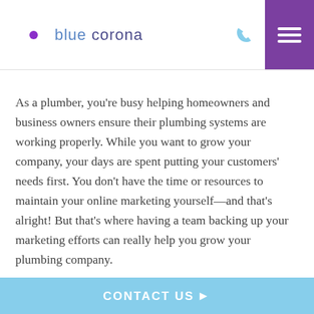Blue Corona
As a plumber, you're busy helping homeowners and business owners ensure their plumbing systems are working properly. While you want to grow your company, your days are spent putting your customers' needs first. You don't have the time or resources to maintain your online marketing yourself—and that's alright! But that's where having a team backing up your marketing efforts can really help you grow your plumbing company.
a strategic plan in place, your email marketing can be extremely effective in generating new business. Your
CONTACT US ▶